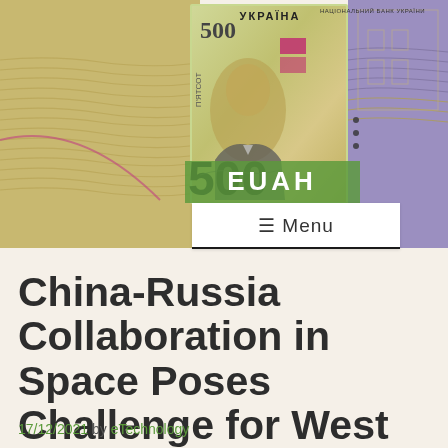[Figure (photo): Ukrainian 500 hryvnia banknote with portrait, text УКРАЇНА, НАЦІОНАЛЬНИЙ БАНК УКРАЇНИ, 500, П'ЯТСОТ, displayed as a website header banner with olive/purple wavy background. EUAH text overlay in green bar.]
≡ Menu
China-Russia Collaboration in Space Poses Challenge for West
17/12/2021 by eTechnology